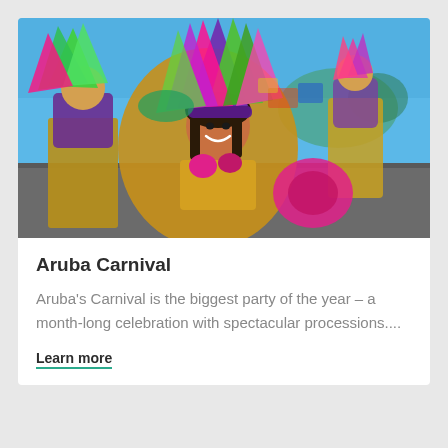[Figure (photo): Colorful Aruba Carnival parade scene with a smiling woman in the foreground wearing a gold and pink carnival costume with a large purple and green feathered headdress, surrounded by other carnival performers in bright costumes on a sunny street.]
Aruba Carnival
Aruba's Carnival is the biggest party of the year – a month-long celebration with spectacular processions....
Learn more